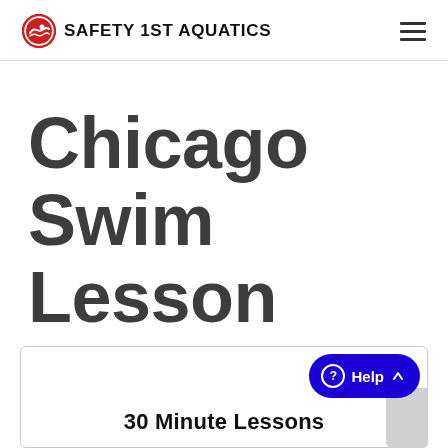SAFETY 1ST AQUATICS
Chicago Swim Lesson Pricing
30 Minute Lessons